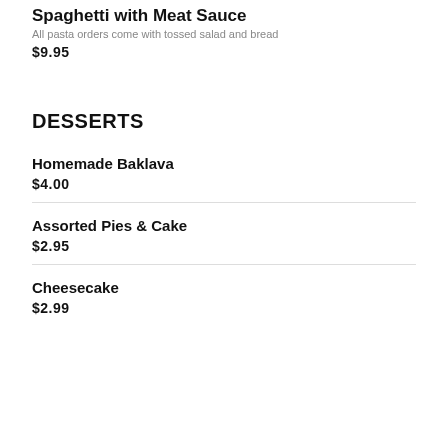Spaghetti with Meat Sauce
All pasta orders come with tossed salad and bread
$9.95
DESSERTS
Homemade Baklava
$4.00
Assorted Pies & Cake
$2.95
Cheesecake
$2.99